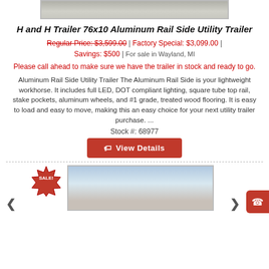[Figure (photo): Top partial image of a trailer, cropped, gray gravel texture visible]
H and H Trailer 76x10 Aluminum Rail Side Utility Trailer
Regular Price: $3,599.00 | Factory Special: $3,099.00 | Savings: $500 | For sale in Wayland, MI
Please call ahead to make sure we have the trailer in stock and ready to go.
Aluminum Rail Side Utility Trailer The Aluminum Rail Side is your lightweight workhorse. It includes full LED, DOT compliant lighting, square tube top rail, stake pockets, aluminum wheels, and #1 grade, treated wood flooring. It is easy to load and easy to move, making this an easy choice for your next utility trailer purchase. ...
Stock #: 68977
[Figure (other): View Details button with tag icon, red background]
[Figure (photo): Bottom partial image of a dealership building with a SALE! badge in the top-left corner]